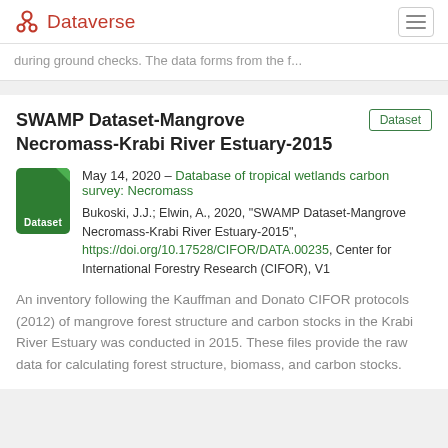Dataverse
during ground checks. The data forms from the f...
SWAMP Dataset-Mangrove Necromass-Krabi River Estuary-2015
May 14, 2020 – Database of tropical wetlands carbon survey: Necromass
Bukoski, J.J.; Elwin, A., 2020, "SWAMP Dataset-Mangrove Necromass-Krabi River Estuary-2015", https://doi.org/10.17528/CIFOR/DATA.00235, Center for International Forestry Research (CIFOR), V1
An inventory following the Kauffman and Donato CIFOR protocols (2012) of mangrove forest structure and carbon stocks in the Krabi River Estuary was conducted in 2015. These files provide the raw data for calculating forest structure, biomass, and carbon stocks.